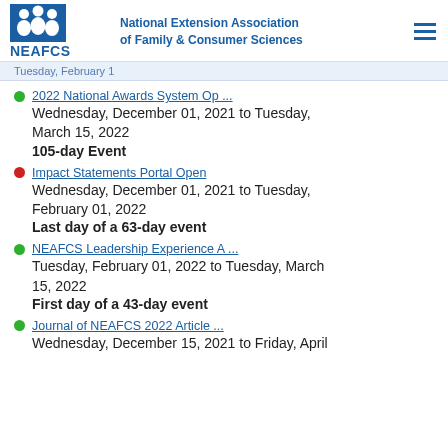National Extension Association of Family & Consumer Sciences | NEAFCS
Tuesday, February 1
2022 National Awards System Op ...
Wednesday, December 01, 2021 to Tuesday, March 15, 2022
105-day Event
Impact Statements Portal Open
Wednesday, December 01, 2021 to Tuesday, February 01, 2022
Last day of a 63-day event
NEAFCS Leadership Experience A ...
Tuesday, February 01, 2022 to Tuesday, March 15, 2022
First day of a 43-day event
Journal of NEAFCS 2022 Article ...
Wednesday, December 15, 2021 to Friday, April